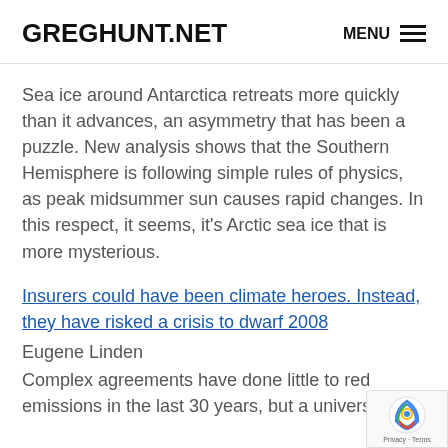GREGHUNT.NET | MENU
Sea ice around Antarctica retreats more quickly than it advances, an asymmetry that has been a puzzle. New analysis shows that the Southern Hemisphere is following simple rules of physics, as peak midsummer sun causes rapid changes. In this respect, it seems, it’s Arctic sea ice that is more mysterious.
Insurers could have been climate heroes. Instead, they have risked a crisis to dwarf 2008
Eugene Linden
Complex agreements have done little to reduce emissions in the last 30 years, but a universal